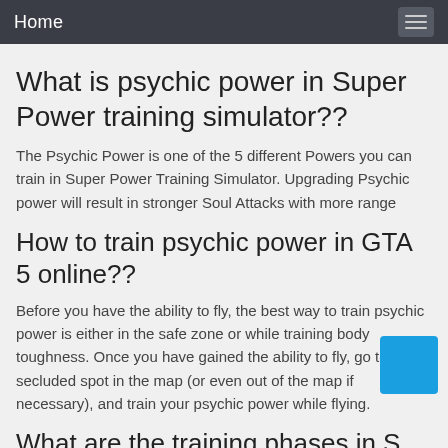Home
What is psychic power in Super Power training simulator??
The Psychic Power is one of the 5 different Powers you can train in Super Power Training Simulator. Upgrading Psychic power will result in stronger Soul Attacks with more range
How to train psychic power in GTA 5 online??
Before you have the ability to fly, the best way to train psychic power is either in the safe zone or while training body toughness. Once you have gained the ability to fly, go to a secluded spot in the map (or even out of the map if necessary), and train your psychic power while flying.
What are the training phases in S...